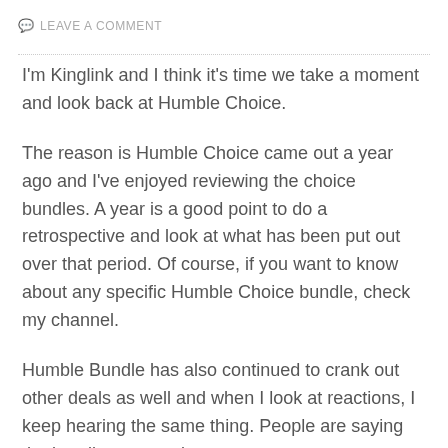LEAVE A COMMENT
I'm Kinglink and I think it's time we take a moment and look back at Humble Choice.
The reason is Humble Choice came out a year ago and I've enjoyed reviewing the choice bundles. A year is a good point to do a retrospective and look at what has been put out over that period. Of course, if you want to know about any specific Humble Choice bundle, check my channel.
Humble Bundle has also continued to crank out other deals as well and when I look at reactions, I keep hearing the same thing. People are saying the bundles are getting worse.